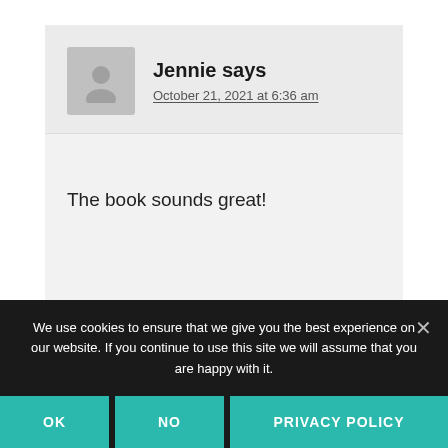Jennie says
October 21, 2021 at 6:36 am
The book sounds great!
Reply
We use cookies to ensure that we give you the best experience on our website. If you continue to use this site we will assume that you are happy with it.
OK
NO
PRIVACY POLICY